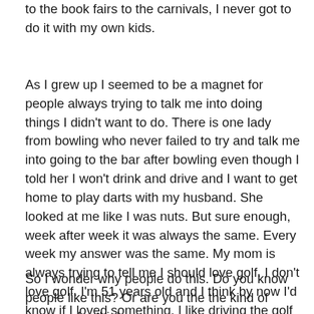to the book fairs to the carnivals, I never got to do it with my own kids.
As I grew up I seemed to be a magnet for people always trying to talk me into doing things I didn't want to do. There is one lady from bowling who never failed to try and talk me into going to the bar after bowling even though I told her I won't drink and drive and I want to get home to play darts with my husband. She looked at me like I was nuts. But sure enough, week after week it was always the same. Every week my answer was the same. My mom is always trying to tell me I should love golf. I don't love golf. I'm 51 years old and I think by now I'd know if I loved something. I like driving the golf cart and being outside but the golf itself, I am not fond of it. Nor am I going to force myself to do it for someone else.
So I wonder why people do this. Do you know people like this? Or are you the the kind of person who thinks you can